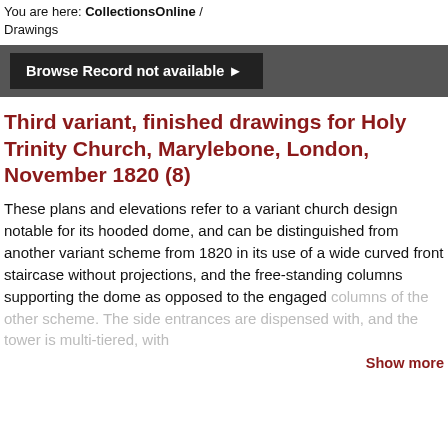You are here: CollectionsOnline / Drawings
[Figure (screenshot): Dark grey navigation bar containing a button labeled 'Browse Record not available ▶']
Third variant, finished drawings for Holy Trinity Church, Marylebone, London, November 1820 (8)
These plans and elevations refer to a variant church design notable for its hooded dome, and can be distinguished from another variant scheme from 1820 in its use of a wide curved front staircase without projections, and the free-standing columns supporting the dome as opposed to the engaged columns of the other scheme. The side entrances are dispensed with, and the tower is multi-tiered, with
Show more